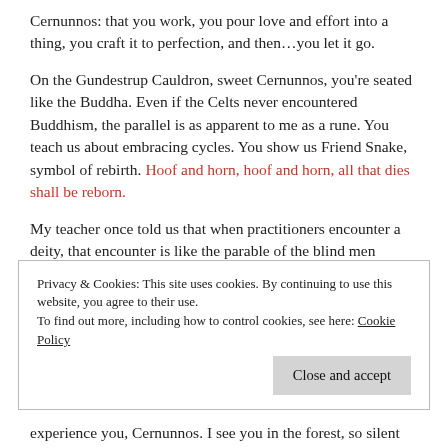Cernunnos: that you work, you pour love and effort into a thing, you craft it to perfection, and then…you let it go.
On the Gundestrup Cauldron, sweet Cernunnos, you're seated like the Buddha. Even if the Celts never encountered Buddhism, the parallel is as apparent to me as a rune. You teach us about embracing cycles. You show us Friend Snake, symbol of rebirth. Hoof and horn, hoof and horn, all that dies shall be reborn.
My teacher once told us that when practitioners encounter a deity, that encounter is like the parable of the blind men feeling the elephant. One person feels the tail, another the
Privacy & Cookies: This site uses cookies. By continuing to use this website, you agree to their use.
To find out more, including how to control cookies, see here: Cookie Policy
experience you, Cernunnos. I see you in the forest, so silent